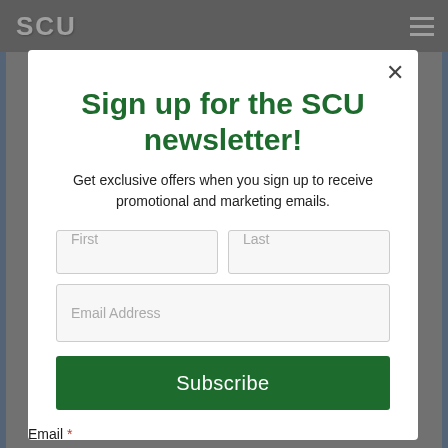SCU
Sign up for the SCU newsletter!
Get exclusive offers when you sign up to receive promotional and marketing emails.
First
Last
Email Address
Subscribe
Email *